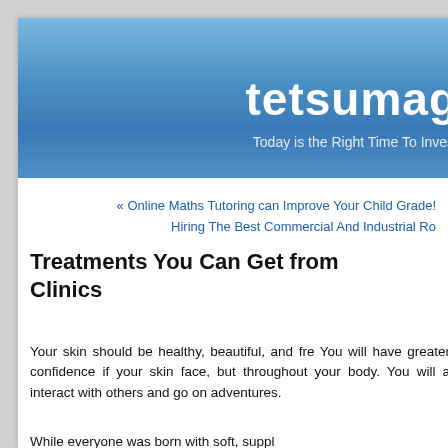tetsumag
Today is the Right Time To Invest
« Online Maths Tutoring can Improve Your Child Grade!
Hiring The Best Commercial And Industrial Ro
Treatments You Can Get from Clinics
Your skin should be healthy, beautiful, and fre You will have greater confidence if your skin face, but throughout your body. You will a interact with others and go on adventures.
While everyone was born with soft, suppl